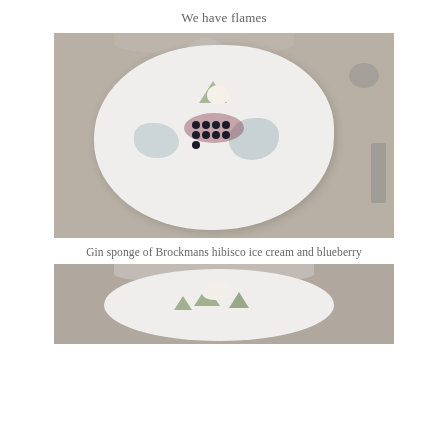We have flames
[Figure (photo): A white irregular-shaped plate on a grey table with a dessert consisting of green sponge pieces, blue-grey cream, dark berries, and red berry sauce. A crystal glass is visible in the top background.]
Gin sponge of Brockmans hibisco ice cream and blueberry
[Figure (photo): Close-up partial view of a similar white plate with green triangular sponge pieces and cream, seen from above on a grey table surface.]